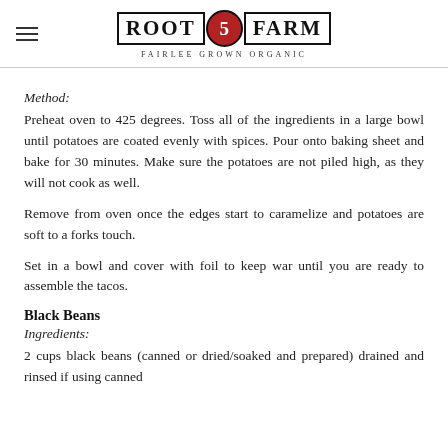Root 5 Farm – Fairlee Grown Organic
Method:
Preheat oven to 425 degrees. Toss all of the ingredients in a large bowl until potatoes are coated evenly with spices. Pour onto baking sheet and bake for 30 minutes. Make sure the potatoes are not piled high, as they will not cook as well.
Remove from oven once the edges start to caramelize and potatoes are soft to a forks touch.
Set in a bowl and cover with foil to keep war until you are ready to assemble the tacos.
Black Beans
Ingredients:
2 cups black beans (canned or dried/soaked and prepared) drained and rinsed if using canned